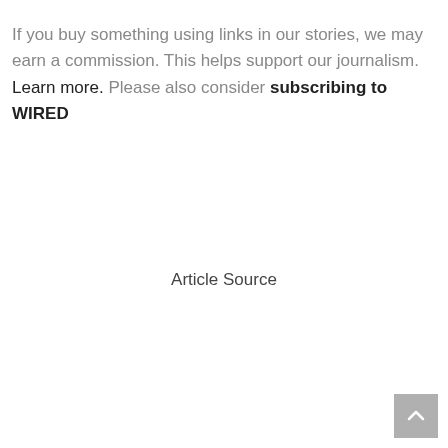If you buy something using links in our stories, we may earn a commission. This helps support our journalism. Learn more. Please also consider subscribing to WIRED
Article Source